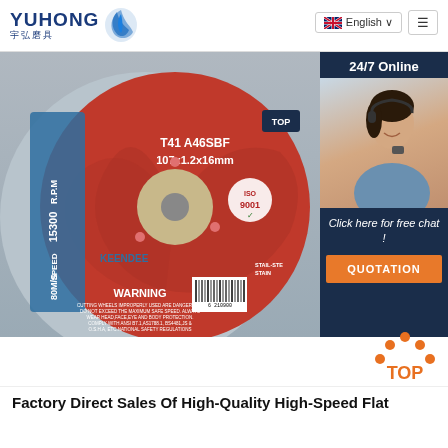[Figure (logo): YUHONG logo with blue Chinese characters 宇弘磨具 and blue flame/wave icon]
[Figure (screenshot): English language selector button with UK flag]
[Figure (screenshot): Hamburger menu button]
[Figure (photo): Cutting disc / grinding wheel labeled T41 A46SBF 107x1.2x16mm, R.P.M 15300, SPEED 80M/S, KEENDEE brand, with WARNING text and barcode, ISO 9001 certified, red and grey disc]
[Figure (photo): 24/7 Online customer service representative with headset, with chat panel showing Click here for free chat! and QUOTATION button]
[Figure (logo): TOP icon with orange dots and text]
Factory Direct Sales Of High-Quality High-Speed Flat